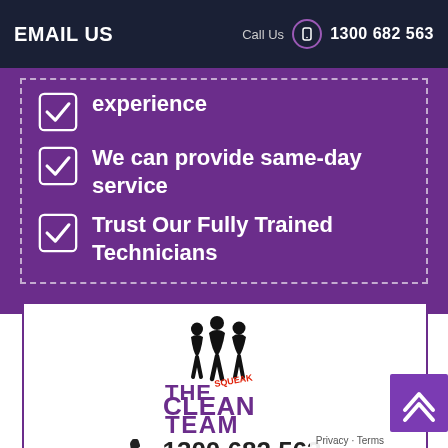EMAIL US   Call Us  1300 682 563
experience
We can provide same-day service
Trust Our Fully Trained Technicians
[Figure (logo): The Squeak Clean Team logo with silhouette figures above stylized purple text 'THE CLEAN TEAM' with 'SQUEAK' in red]
1300 682 563